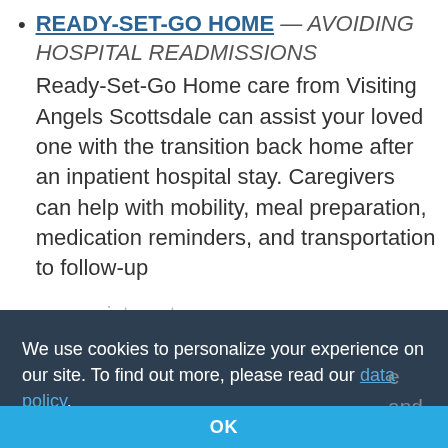READY-SET-GO HOME — AVOIDING HOSPITAL READMISSIONS
Ready-Set-Go Home care from Visiting Angels Scottsdale can assist your loved one with the transition back home after an inpatient hospital stay. Caregivers can help with mobility, meal preparation, medication reminders, and transportation to follow-up appointments.
We use cookies to personalize your experience on our site. To find out more, please read our data policy.
OK